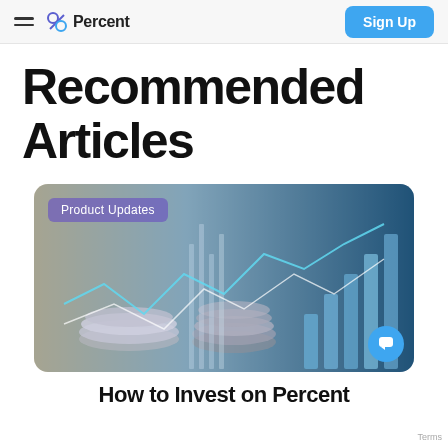% Percent | Sign Up
Recommended Articles
[Figure (photo): Financial markets photo showing stacks of coins and rising bar chart in blue tones with overlaid line charts, tagged 'Product Updates']
How to Invest on Percent